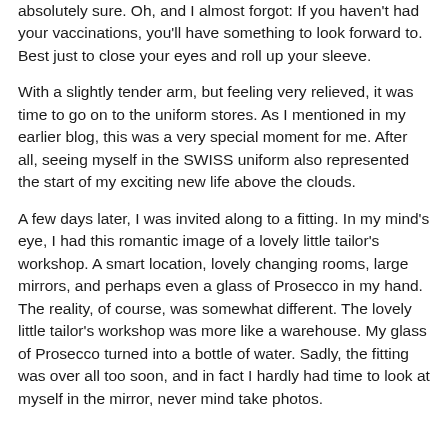absolutely sure. Oh, and I almost forgot: If you haven't had your vaccinations, you'll have something to look forward to. Best just to close your eyes and roll up your sleeve.
With a slightly tender arm, but feeling very relieved, it was time to go on to the uniform stores. As I mentioned in my earlier blog, this was a very special moment for me. After all, seeing myself in the SWISS uniform also represented the start of my exciting new life above the clouds.
A few days later, I was invited along to a fitting. In my mind's eye, I had this romantic image of a lovely little tailor's workshop. A smart location, lovely changing rooms, large mirrors, and perhaps even a glass of Prosecco in my hand. The reality, of course, was somewhat different. The lovely little tailor's workshop was more like a warehouse. My glass of Prosecco turned into a bottle of water. Sadly, the fitting was over all too soon, and in fact I hardly had time to look at myself in the mirror, never mind take photos.